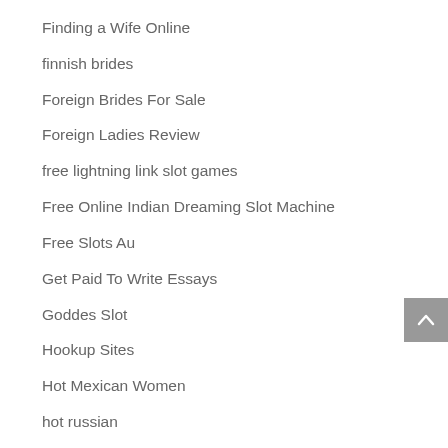Finding a Wife Online
finnish brides
Foreign Brides For Sale
Foreign Ladies Review
free lightning link slot games
Free Online Indian Dreaming Slot Machine
Free Slots Au
Get Paid To Write Essays
Goddes Slot
Hookup Sites
Hot Mexican Women
hot russian
hot russian brides